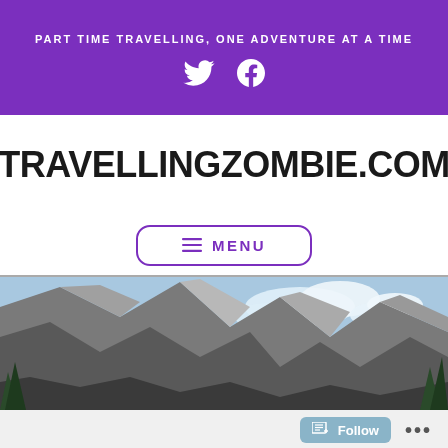PART TIME TRAVELLING, ONE ADVENTURE AT A TIME
TRAVELLINGZOMBIE.COM
≡ MENU
[Figure (photo): Panoramic mountain landscape with steep rocky cliffs on the left and a bright blue sky with white clouds on the right, green trees visible at edges]
Follow ...